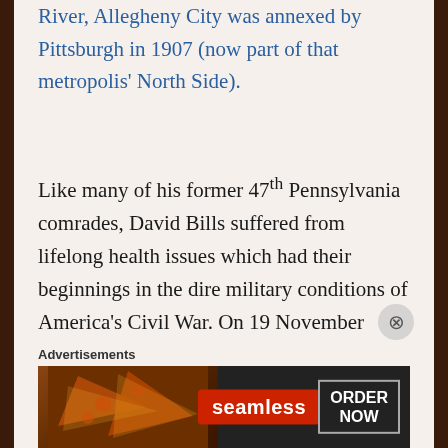River, Allegheny City was annexed by Pittsburgh in 1907 (now part of that metropolis' North Side).
Like many of his former 47th Pennsylvania comrades, David Bills suffered from lifelong health issues which had their beginnings in the dire military conditions of America's Civil War. On 19 November 1890, with the assistance of attorney J. H. Stevens, he filed for and obtained a U.S. Civil War Pension. One of several men residing at the boarding house operated by W. L. Cunningham in Pittsburgh's 23rd Ward, 269th Precinct in June of 1900, his asthma condition continued to worsen, and he was forced to seek
Advertisements
[Figure (other): Seamless food delivery advertisement banner showing pizza slices on dark background with Seamless logo and ORDER NOW button]